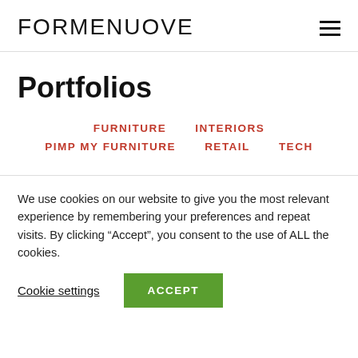FORMENUOVE
Portfolios
FURNITURE
INTERIORS
PIMP MY FURNITURE
RETAIL
TECH
We use cookies on our website to give you the most relevant experience by remembering your preferences and repeat visits. By clicking “Accept”, you consent to the use of ALL the cookies.
Cookie settings | ACCEPT